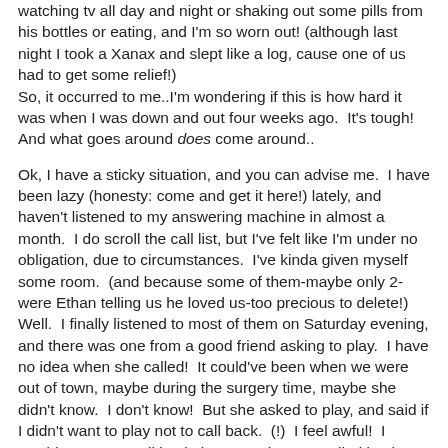watching tv all day and night or shaking out some pills from his bottles or eating, and I'm so worn out! (although last night I took a Xanax and slept like a log, cause one of us had to get some relief!)
So, it occurred to me..I'm wondering if this is how hard it was when I was down and out four weeks ago.  It's tough!  And what goes around does come around..
Ok, I have a sticky situation, and you can advise me.  I have been lazy (honesty: come and get it here!) lately, and haven't listened to my answering machine in almost a month.  I do scroll the call list, but I've felt like I'm under no obligation, due to circumstances.  I've kinda given myself some room.  (and because some of them-maybe only 2-were Ethan telling us he loved us-too precious to delete!)  Well.  I finally listened to most of them on Saturday evening, and there was one from a good friend asking to play.  I have no idea when she called!  It could've been when we were out of town, maybe during the surgery time, maybe she didn't know.  I don't know!  But she asked to play, and said if I didn't want to play not to call back.  (!)  I feel awful!  I would never not call back, but now I haven't called back.  What a mess.  That blinky